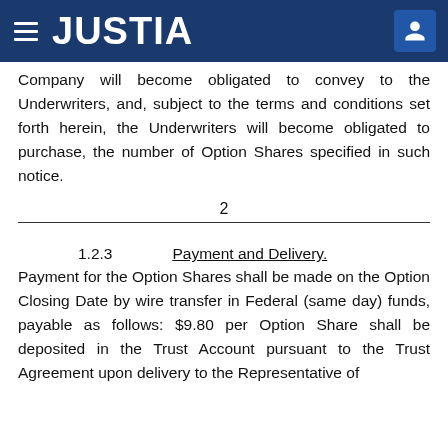JUSTIA
Company will become obligated to convey to the Underwriters, and, subject to the terms and conditions set forth herein, the Underwriters will become obligated to purchase, the number of Option Shares specified in such notice.
2
1.2.3   Payment and Delivery.
Payment for the Option Shares shall be made on the Option Closing Date by wire transfer in Federal (same day) funds, payable as follows: $9.80 per Option Share shall be deposited in the Trust Account pursuant to the Trust Agreement upon delivery to the Representative of